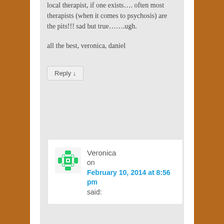local therapist, if one exists…. often most therapists (when it comes to psychosis) are the pits!!! sad but true…….ugh.

all the best, veronica, daniel
Reply ↓
Veronica on February 10, 2014 at 8:56 pm said: